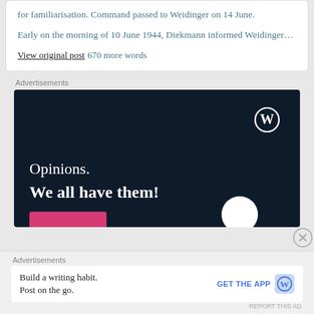for familiarisation. Command passed to Weidinger on 14 June.
Early on the morning of 10 June 1944, Diekmann informed Weidinger…
View original post 670 more words
Advertisements
[Figure (illustration): WordPress advertisement banner with dark navy background. WordPress logo (circle W) in top right. Text reads 'Opinions. We all have them!' in white serif font. Pink button at bottom left, white circle at bottom right.]
Advertisements
Build a writing habit. Post on the go.
GET THE APP
REPORT THIS AD